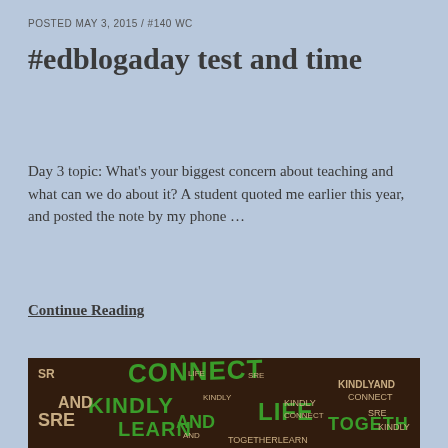POSTED MAY 3, 2015 / #140 WC
#edblogaday test and time
Day 3 topic: What's your biggest concern about teaching and what can we do about it? A student quoted me earlier this year, and posted the note by my phone …
Continue Reading
[Figure (photo): Word cloud image featuring words like CONNECT, KINDLY, AND, LEARN, SRE, LIFE, TOGETHER in green and cream/white letters on a dark brown background]